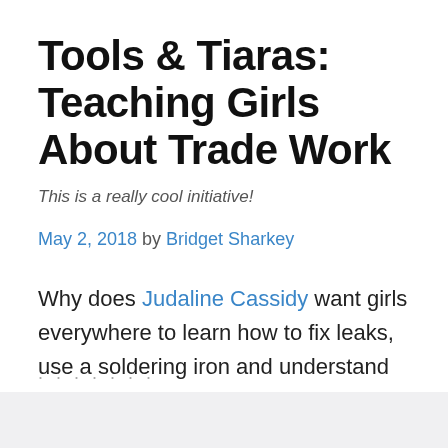Tools & Tiaras: Teaching Girls About Trade Work
This is a really cool initiative!
May 2, 2018 by Bridget Sharkey
Why does Judaline Cassidy want girls everywhere to learn how to fix leaks, use a soldering iron and understand electrical wiring?